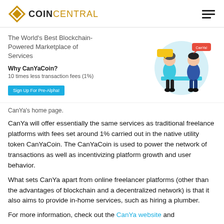COINCENTRAL
[Figure (illustration): CanYa promotional banner showing two people talking at a table with speech bubbles, on a light blue circular background. Text reads: The World's Best Blockchain-Powered Marketplace of Services. Why CanYaCoin? 10 times less transaction fees (1%). Sign Up For Pre-Alpha button.]
CanYa's home page.
CanYa will offer essentially the same services as traditional freelance platforms with fees set around 1% carried out in the native utility token CanYaCoin. The CanYaCoin is used to power the network of transactions as well as incentivizing platform growth and user behavior.
What sets CanYa apart from online freelancer platforms (other than the advantages of blockchain and a decentralized network) is that it also aims to provide in-home services, such as hiring a plumber.
For more information, check out the CanYa website and